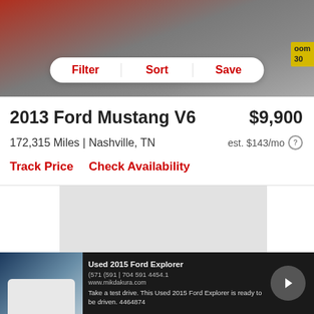[Figure (photo): Top partial photo of a red car (Ford Mustang) with a filter/sort/save button bar overlay]
2013 Ford Mustang V6
$9,900
172,315 Miles | Nashville, TN
est. $143/mo
Track Price    Check Availability
[Figure (map): Gray placeholder map area]
[Figure (photo): Ad banner for Used 2015 Ford Explorer with car photo, text, and arrow button]